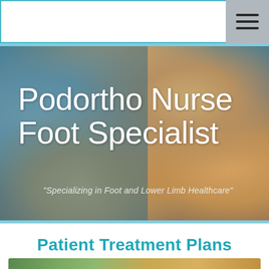Podortho Nurse Foot Specialist
[Figure (photo): Hero banner image showing a close-up of a foot/lower limb in a colorful sock or wrapping, with teal overlay on left side]
Podortho Nurse Foot Specialist
"Specializing in Foot and Lower Limb Healthcare"
Patient Treatment Plans
[Figure (photo): Bottom image strip showing a foot care or treatment scene with green and warm tones]